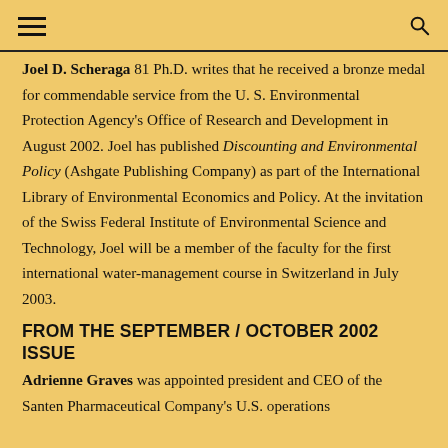[navigation bar with hamburger menu and search icon]
Joel D. Scheraga 81 Ph.D. writes that he received a bronze medal for commendable service from the U.S. Environmental Protection Agency's Office of Research and Development in August 2002. Joel has published Discounting and Environmental Policy (Ashgate Publishing Company) as part of the International Library of Environmental Economics and Policy. At the invitation of the Swiss Federal Institute of Environmental Science and Technology, Joel will be a member of the faculty for the first international water-management course in Switzerland in July 2003.
FROM THE SEPTEMBER / OCTOBER 2002 ISSUE
Adrienne Graves was appointed president and CEO of the Santen Pharmaceutical Company's U.S. operations